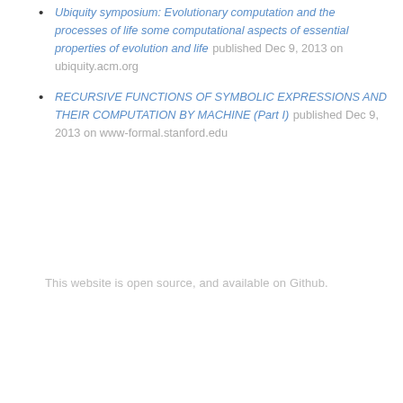Ubiquity symposium: Evolutionary computation and the processes of life some computational aspects of essential properties of evolution and life published Dec 9, 2013 on ubiquity.acm.org
RECURSIVE FUNCTIONS OF SYMBOLIC EXPRESSIONS AND THEIR COMPUTATION BY MACHINE (Part I) published Dec 9, 2013 on www-formal.stanford.edu
This website is open source, and available on Github.